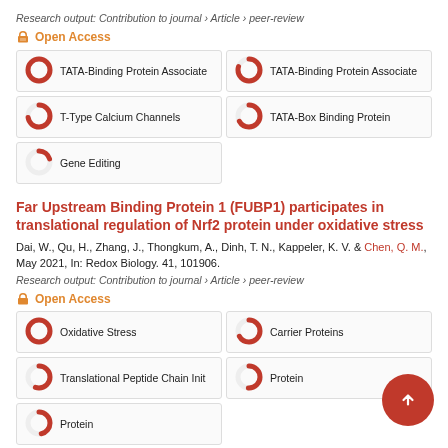Research output: Contribution to journal › Article › peer-review
Open Access
TATA-Binding Protein Associate
TATA-Binding Protein Associate
T-Type Calcium Channels
TATA-Box Binding Protein
Gene Editing
Far Upstream Binding Protein 1 (FUBP1) participates in translational regulation of Nrf2 protein under oxidative stress
Dai, W., Qu, H., Zhang, J., Thongkum, A., Dinh, T. N., Kappeler, K. V. & Chen, Q. M., May 2021, In: Redox Biology. 41, 101906.
Research output: Contribution to journal › Article › peer-review
Open Access
Oxidative Stress
Carrier Proteins
Translational Peptide Chain Init
Protein
Protein